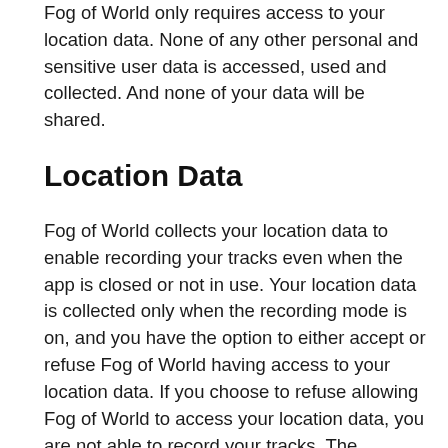Fog of World only requires access to your location data. None of any other personal and sensitive user data is accessed, used and collected. And none of your data will be shared.
Location Data
Fog of World collects your location data to enable recording your tracks even when the app is closed or not in use. Your location data is collected only when the recording mode is on, and you have the option to either accept or refuse Fog of World having access to your location data. If you choose to refuse allowing Fog of World to access your location data, you are not able to record your tracks. The collected location data is only used internally by the Fog of World app and does not transmit nor share with thrid-party your location information unless you